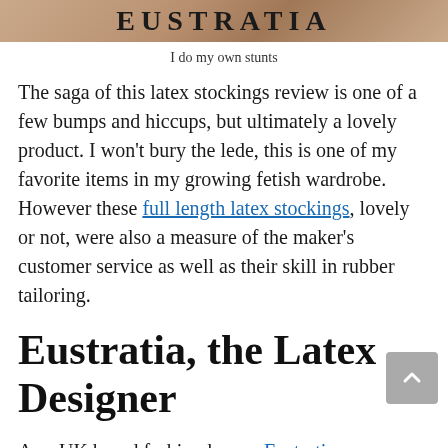[Figure (photo): Banner image with text 'EUSTRATIA' in bold letters over a tan/skin-toned background]
I do my own stunts
The saga of this latex stockings review is one of a few bumps and hiccups, but ultimately a lovely product. I won't bury the lede, this is one of my favorite items in my growing fetish wardrobe. However these full length latex stockings, lovely or not, were also a measure of the maker's customer service as well as their skill in rubber tailoring.
Eustratia, the Latex Designer
As a UK based fashion house, Eustratia exclusively sells on etsy and at time of